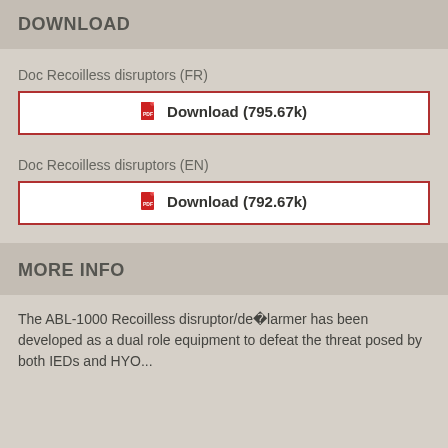DOWNLOAD
Doc Recoilless disruptors (FR)
Download (795.67k)
Doc Recoilless disruptors (EN)
Download (792.67k)
MORE INFO
The ABL-1000 Recoilless disruptor/de�larmer has been developed as a dual role equipment to defeat the threat posed by both IEDs and HYO...